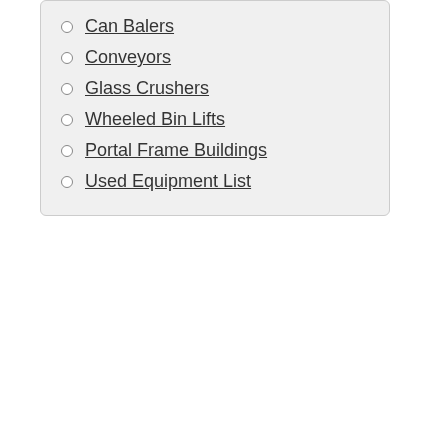Can Balers
Conveyors
Glass Crushers
Wheeled Bin Lifts
Portal Frame Buildings
Used Equipment List
pumps pumps.
3. Stand... The m... are the... stock... and P...
4. Comp... With t... again.
The P... merch... this sh...
5. Uniqu... ATS B... feedin...
6. Quick... The au... Auto-ti...
7. Innova... The b... The d...